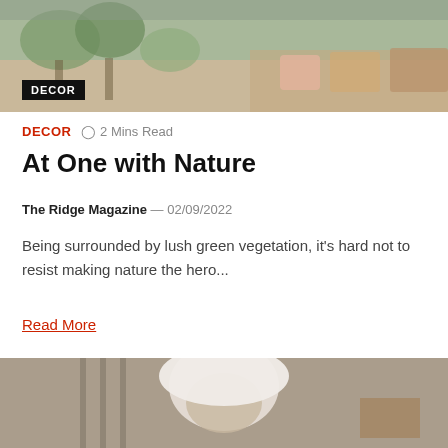[Figure (photo): Interior decor photo showing lush green plants, colorful cushions and a cozy living room setting with a 'DECOR' label badge overlay]
DECOR  ⏱ 2 Mins Read
At One with Nature
The Ridge Magazine — 02/09/2022
Being surrounded by lush green vegetation, it's hard not to resist making nature the hero...
Read More
[Figure (photo): Person wrapped in white fabric/towel, partially obscured by a white overlay panel with a close button (×)]